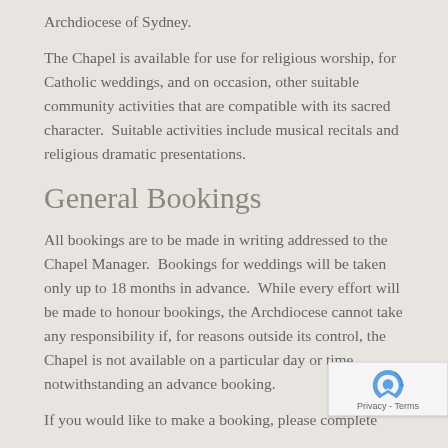Archdiocese of Sydney.
The Chapel is available for use for religious worship, for Catholic weddings, and on occasion, other suitable community activities that are compatible with its sacred character.  Suitable activities include musical recitals and religious dramatic presentations.
General Bookings
All bookings are to be made in writing addressed to the Chapel Manager.  Bookings for weddings will be taken only up to 18 months in advance.  While every effort will be made to honour bookings, the Archdiocese cannot take any responsibility if, for reasons outside its control, the Chapel is not available on a particular day or time notwithstanding an advance booking.
If you would like to make a booking, please complete
[Figure (logo): reCAPTCHA Privacy Terms badge in bottom right corner]